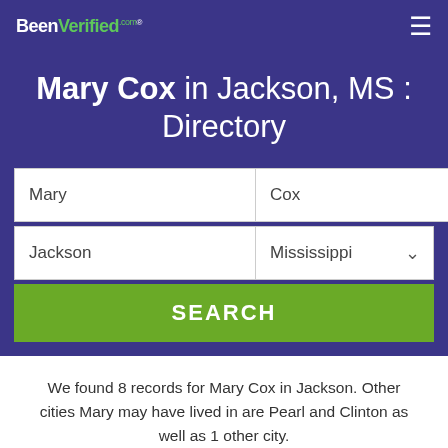BeenVerified.com
Mary Cox in Jackson, MS : Directory
We found 8 records for Mary Cox in Jackson. Other cities Mary may have lived in are Pearl and Clinton as well as 1 other city.